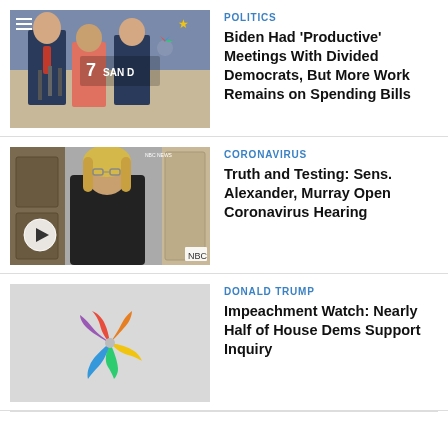[Figure (photo): Photo of Biden with senators outside White House, NBC 7 San Diego watermark overlay]
POLITICS
Biden Had 'Productive' Meetings With Divided Democrats, But More Work Remains on Spending Bills
[Figure (photo): Video thumbnail of Senator Murray speaking, with play button overlay and NBC logo]
CORONAVIRUS
Truth and Testing: Sens. Alexander, Murray Open Coronavirus Hearing
[Figure (photo): NBC News placeholder image with peacock logo on grey background]
DONALD TRUMP
Impeachment Watch: Nearly Half of House Dems Support Inquiry